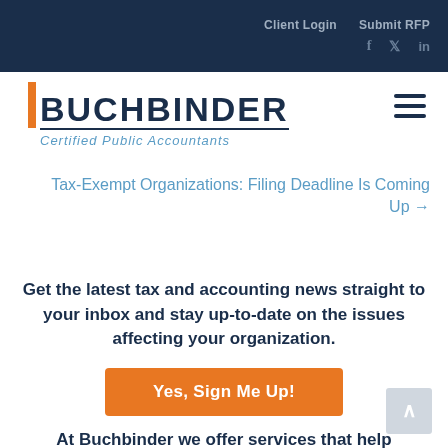Client Login   Submit RFP
[Figure (logo): Buchbinder Certified Public Accountants logo with orange vertical bar accent]
Tax-Exempt Organizations: Filing Deadline Is Coming Up →
Get the latest tax and accounting news straight to your inbox and stay up-to-date on the issues affecting your organization.
Yes, Sign Me Up!
At Buchbinder we offer services that help